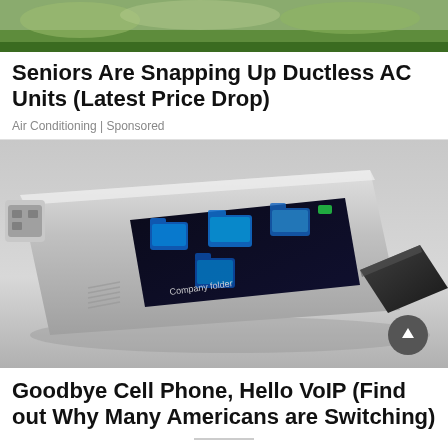[Figure (photo): Top banner image showing outdoor scene with green grass]
Seniors Are Snapping Up Ductless AC Units (Latest Price Drop)
Air Conditioning | Sponsored
[Figure (photo): Image of a futuristic USB flash drive device with a touchscreen display showing folder icons labeled 'Company folder', with a black USB cap removed]
Goodbye Cell Phone, Hello VoIP (Find out Why Many Americans are Switching)